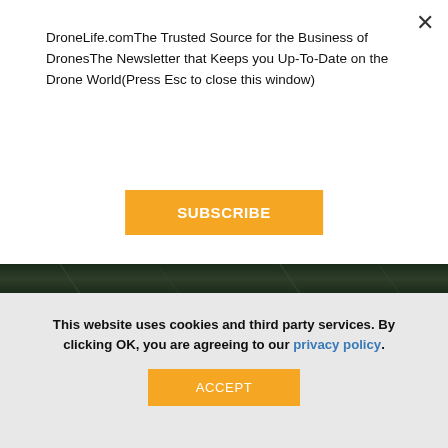DroneLife.comThe Trusted Source for the Business of DronesThe Newsletter that Keeps you Up-To-Date on the Drone World(Press Esc to close this window)
[Figure (other): SUBSCRIBE button — orange rectangular button with white bold text]
[Figure (photo): Dark green/black textured background image strip]
When most people think of drones – even commercial ones – they picture a quadcopter, or maybe a long endurance fixed wing.  But at the larger end of the market, there are new dev… Read more »
This website uses cookies and third party services. By clicking OK, you are agreeing to our privacy policy.
[Figure (other): ACCEPT button — orange rectangular button with white text]